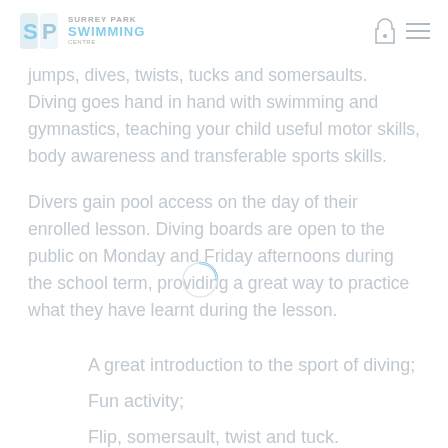Surrey Park Swimming
jumps, dives, twists, tucks and somersaults. Diving goes hand in hand with swimming and gymnastics, teaching your child useful motor skills, body awareness and transferable sports skills.
Divers gain pool access on the day of their enrolled lesson. Diving boards are open to the public on Monday and Friday afternoons during the school term, providing a great way to practice what they have learnt during the lesson.
A great introduction to the sport of diving;
Fun activity;
Flip, somersault, twist and tuck.